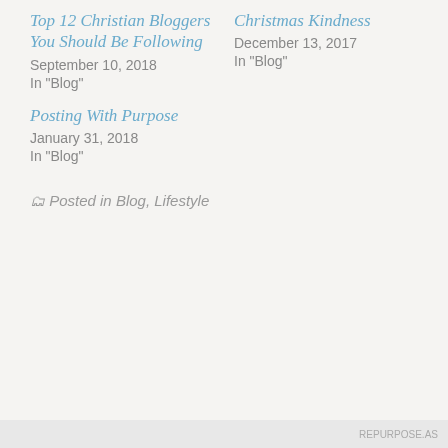Top 12 Christian Bloggers You Should Be Following
September 10, 2018
In "Blog"
Christmas Kindness
December 13, 2017
In "Blog"
Posting With Purpose
January 31, 2018
In "Blog"
Posted in Blog, Lifestyle
Privacy & Cookies: This site uses cookies. By continuing to use this website, you agree to their use.
To find out more, including how to control cookies, see here: Cookie Policy
Close and accept